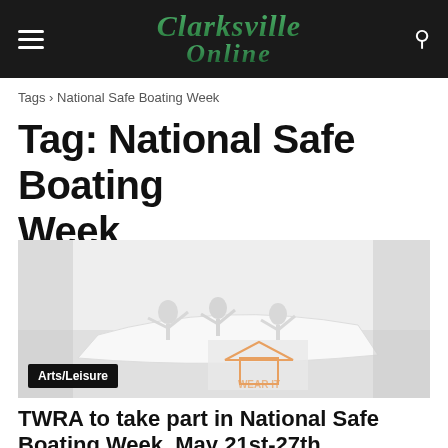Clarksville Online
Tags › National Safe Boating Week
Tag: National Safe Boating Week
[Figure (photo): Faded/washed-out photo of people on a boat with a 'Wear It' watermark visible in the lower center area. An Arts/Leisure category badge is overlaid in the bottom-left corner.]
TWRA to take part in National Safe Boating Week, May 21st-27th